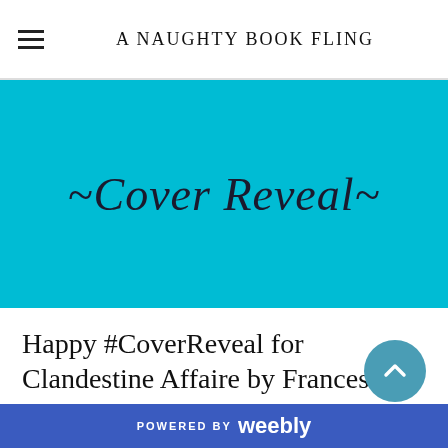A NAUGHTY BOOK FLING
[Figure (other): Cyan/turquoise banner with italic text reading ~Cover Reveal~]
Happy #CoverReveal for Clandestine Affaire by Frances
6/12/2018   0 Comments
POWERED BY weebly